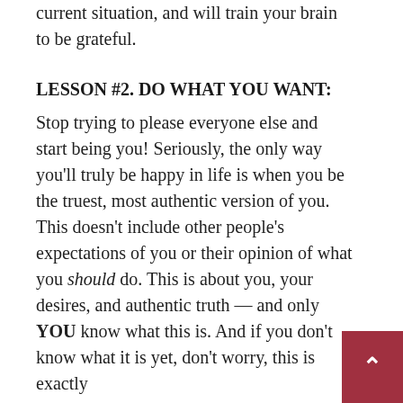current situation, and will train your brain to be grateful.
LESSON #2. DO WHAT YOU WANT:
Stop trying to please everyone else and start being you! Seriously, the only way you'll truly be happy in life is when you be the truest, most authentic version of you. This doesn't include other people's expectations of you or their opinion of what you should do. This is about you, your desires, and authentic truth — and only YOU know what this is. And if you don't know what it is yet, don't worry, this is exactly